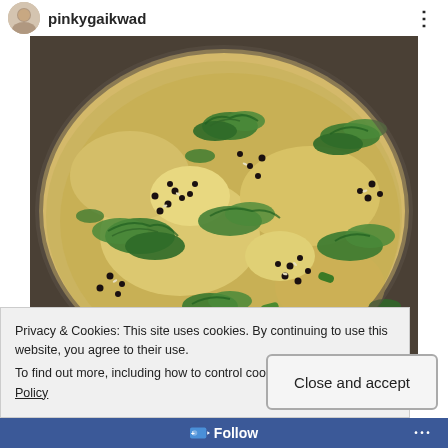pinkygaikwad
[Figure (photo): A round metal pan (tray) containing a creamy yellow dish (possibly Indian dahi/kadhi) topped with fresh green cilantro/coriander leaves, black mustard seeds, and chopped green chili pieces.]
Privacy & Cookies: This site uses cookies. By continuing to use this website, you agree to their use.
To find out more, including how to control cookies, see here: Cookie Policy
Close and accept
Follow